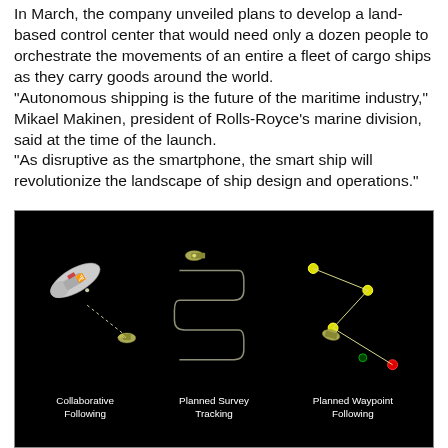In March, the company unveiled plans to develop a land-based control center that would need only a dozen people to orchestrate the movements of an entire a fleet of cargo ships as they carry goods around the world. "Autonomous shipping is the future of the maritime industry," Mikael Makinen, president of Rolls-Royce's marine division, said at the time of the launch. "As disruptive as the smartphone, the smart ship will revolutionize the landscape of ship design and operations."
[Figure (illustration): Dark background illustration showing three autonomous ship navigation modes side by side: Collaborative Following (a ship with a drone/sensor and dotted path), Planned Survey Tracking (a ship following a lawnmower pattern path), and Planned Waypoint Following (a ship navigating between yellow and red waypoint markers connected by lines).]